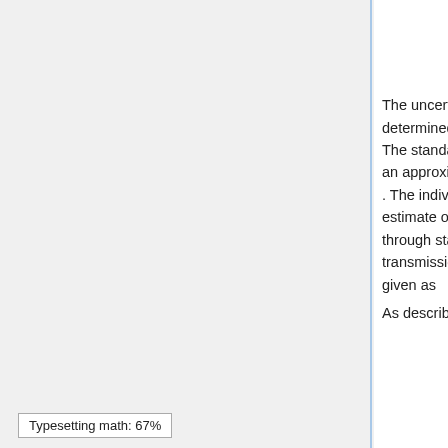"Combined (bottom) and individual (top) filter transmission measurements for the 5 filters within the HFI band filter stacks (6 for 545 and 857 GHz)."
The uncertainty on the combined filter transmission measurement is determined as follows. Let represent the individual filter transmission. The standard deviation of all values of below a threshold of is used as an approximate uncertainty for each individual filter measurement, i.e. . The individual uncertainty estimates are combined to provide an estimate of the combined filter transmission spectral uncertainty through standard error propagation. For the combined filter transmission represented as , the associated uncertainty estimate is given as
As described below, the composite filter
Typesetting math: 67%